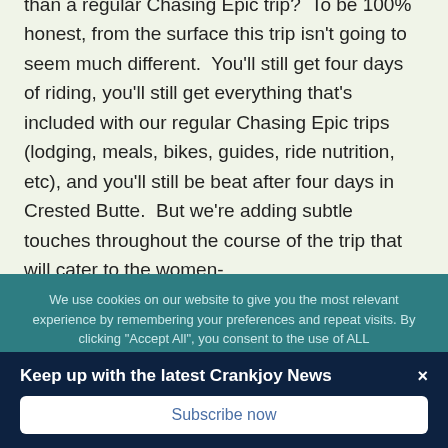than a regular Chasing Epic trip?  To be 100% honest, from the surface this trip isn't going to seem much different.  You'll still get four days of riding, you'll still get everything that's included with our regular Chasing Epic trips (lodging, meals, bikes, guides, ride nutrition, etc), and you'll still be beat after four days in Crested Butte.  But we're adding subtle touches throughout the course of the trip that will cater to the women-
We use cookies on our website to give you the most relevant experience by remembering your preferences and repeat visits. By clicking "Accept All", you consent to the use of ALL
Keep up with the latest Crankjoy News
Subscribe now